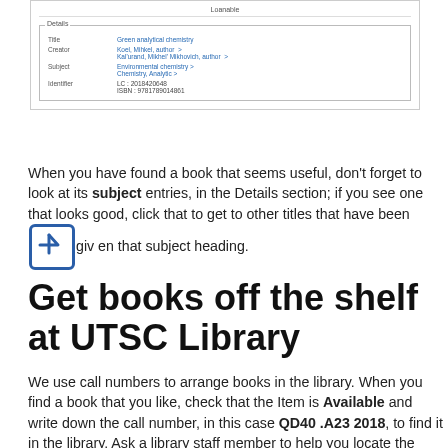[Figure (screenshot): Screenshot of a library catalog record showing Details section with Title: Green analytical chemistry, Creator: Koel, Mihkel, author; Kal'urand, Mikhel' Mikhovich, author, Subject: Environmental chemistry; Chemistry, Analytic, Identifier: LC: 2018420648; ISBN: 9781789014861. Top shows 'Loanable' label.]
When you have found a book that seems useful, don't forget to look at its subject entries, in the Details section; if you see one that looks good, click that to get to other titles that have been given that subject heading.
Get books off the shelf at UTSC Library
We use call numbers to arrange books in the library. When you find a book that you like, check that the Item is Available and write down the call number, in this case QD40 .A23 2018, to find it in the library. Ask a library staff member to help you locate the book if